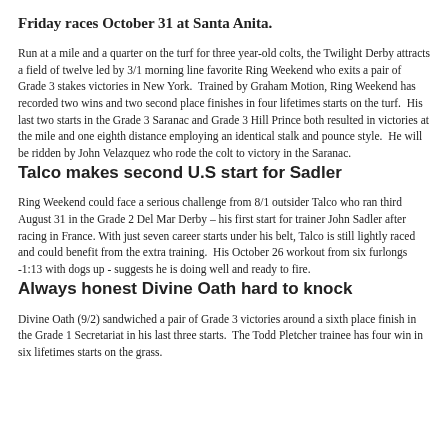Friday races October 31 at Santa Anita.
Run at a mile and a quarter on the turf for three year-old colts, the Twilight Derby attracts a field of twelve led by 3/1 morning line favorite Ring Weekend who exits a pair of Grade 3 stakes victories in New York.  Trained by Graham Motion, Ring Weekend has recorded two wins and two second place finishes in four lifetimes starts on the turf.  His last two starts in the Grade 3 Saranac and Grade 3 Hill Prince both resulted in victories at the mile and one eighth distance employing an identical stalk and pounce style.  He will be ridden by John Velazquez who rode the colt to victory in the Saranac.
Talco makes second U.S start for Sadler
Ring Weekend could face a serious challenge from 8/1 outsider Talco who ran third August 31 in the Grade 2 Del Mar Derby – his first start for trainer John Sadler after racing in France. With just seven career starts under his belt, Talco is still lightly raced and could benefit from the extra training.  His October 26 workout from six furlongs -1:13 with dogs up - suggests he is doing well and ready to fire.
Always honest Divine Oath hard to knock
Divine Oath (9/2) sandwiched a pair of Grade 3 victories around a sixth place finish in the Grade 1 Secretariat in his last three starts.  The Todd Pletcher trainee has four win in six lifetimes starts on the grass.